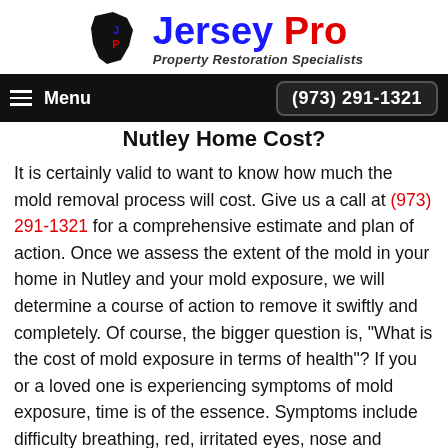[Figure (logo): Jersey Pro Property Restoration Specialists logo with NJ state shape icon and blue/red text]
Menu | (973) 291-1321
Nutley Home Cost?
It is certainly valid to want to know how much the mold removal process will cost. Give us a call at (973) 291-1321 for a comprehensive estimate and plan of action. Once we assess the extent of the mold in your home in Nutley and your mold exposure, we will determine a course of action to remove it swiftly and completely. Of course, the bigger question is, "What is the cost of mold exposure in terms of health"? If you or a loved one is experiencing symptoms of mold exposure, time is of the essence. Symptoms include difficulty breathing, red, irritated eyes, nose and throat, coughing, sneezing, fatigue, headaches, and difficulty concentrating. If you suspect that you are being affected